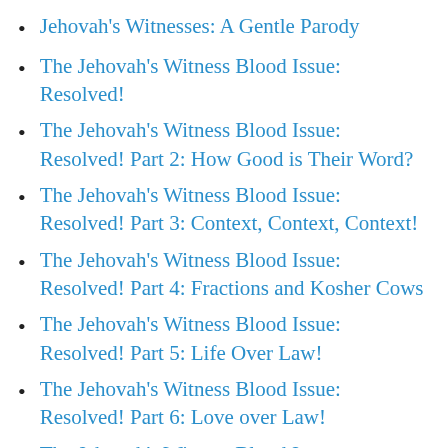Jehovah's Witnesses: A Gentle Parody
The Jehovah's Witness Blood Issue: Resolved!
The Jehovah's Witness Blood Issue: Resolved! Part 2: How Good is Their Word?
The Jehovah's Witness Blood Issue: Resolved! Part 3: Context, Context, Context!
The Jehovah's Witness Blood Issue: Resolved! Part 4: Fractions and Kosher Cows
The Jehovah's Witness Blood Issue: Resolved! Part 5: Life Over Law!
The Jehovah's Witness Blood Issue: Resolved! Part 6: Love over Law!
The Jehovah's Witness Blood Issue: Resolved! Part 7: Sense Over Nonsense!
The Jehovah's Witness Blood Issue: